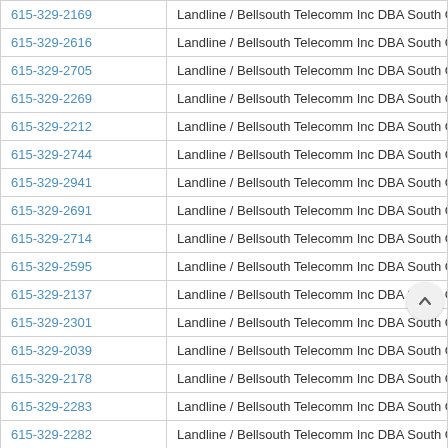| Phone | Type / Carrier |
| --- | --- |
| 615-329-2169 | Landline / Bellsouth Telecomm Inc DBA South Central Bell Tel |
| 615-329-2616 | Landline / Bellsouth Telecomm Inc DBA South Central Bell Tel |
| 615-329-2705 | Landline / Bellsouth Telecomm Inc DBA South Central Bell Tel |
| 615-329-2269 | Landline / Bellsouth Telecomm Inc DBA South Central Bell Tel |
| 615-329-2212 | Landline / Bellsouth Telecomm Inc DBA South Central Bell Tel |
| 615-329-2744 | Landline / Bellsouth Telecomm Inc DBA South Central Bell Tel |
| 615-329-2941 | Landline / Bellsouth Telecomm Inc DBA South Central Bell Tel |
| 615-329-2691 | Landline / Bellsouth Telecomm Inc DBA South Central Bell Tel |
| 615-329-2714 | Landline / Bellsouth Telecomm Inc DBA South Central Bell Tel |
| 615-329-2595 | Landline / Bellsouth Telecomm Inc DBA South Central Bell Tel |
| 615-329-2137 | Landline / Bellsouth Telecomm Inc DBA South Central Bell Tel |
| 615-329-2301 | Landline / Bellsouth Telecomm Inc DBA South Central Bell Tel |
| 615-329-2039 | Landline / Bellsouth Telecomm Inc DBA South Central Bell Tel |
| 615-329-2178 | Landline / Bellsouth Telecomm Inc DBA South Central Bell Tel |
| 615-329-2283 | Landline / Bellsouth Telecomm Inc DBA South Central |
| 615-329-2282 | Landline / Bellsouth Telecomm Inc DBA South Central |
| 615-329-2207 | Landline / Bellsouth Telecomm Inc DBA South Central Bell Tel |
| 615-329-2231 | Landline / Bellsouth Telecomm Inc DBA South Central Bell Tel |